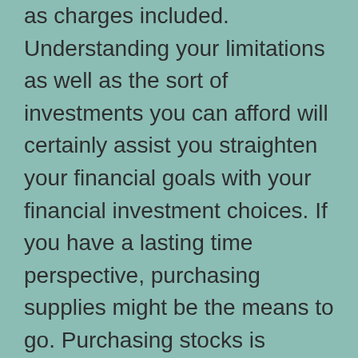as charges included. Understanding your limitations as well as the sort of investments you can afford will certainly assist you straighten your financial goals with your financial investment choices. If you have a lasting time perspective, purchasing supplies might be the means to go. Purchasing stocks is usually taken into consideration a risky task. The longer-term objective is to reach a set quantity of cash, such as retirement.
The property side of the annual report can likewise be an excellent selection. For example, purchasing supplies provides you